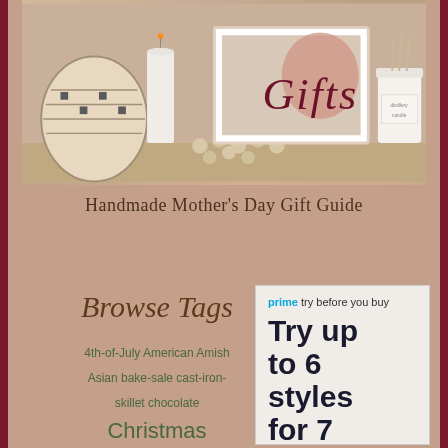[Figure (photo): Photo showing decorative home items including baskets, candles, beads, and a framed picture with the word 'Gifts' in dark red italic script]
Handmade Mother's Day Gift Guide
Browse Tags
4th-of-July American Amish Asian bake-sale cast-iron-skillet chocolate Christmas Christmas Cookie comfort-food Country-Style
[Figure (screenshot): Amazon Prime 'Try before you buy' advertisement showing text 'Try up to 6 styles for 7']